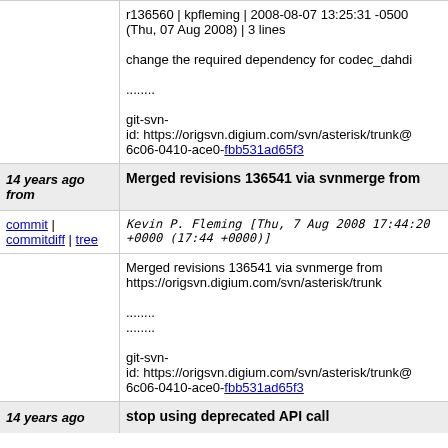r136560 | kpfleming | 2008-08-07 13:25:31 -0500 (Thu, 07 Aug 2008) | 3 lines

change the required dependency for codec_dahdi

........

git-svn-id: https://origsvn.digium.com/svn/asterisk/trunk@6c06-0410-ace0-fbb531ad65f3
14 years ago from
Merged revisions 136541 via svnmerge from
commit | commitdiff | tree   Kevin P. Fleming [Thu, 7 Aug 2008 17:44:20 +0000 (17:44 +0000)]
Merged revisions 136541 via svnmerge from https://origsvn.digium.com/svn/asterisk/trunk

........
........

git-svn-id: https://origsvn.digium.com/svn/asterisk/trunk@6c06-0410-ace0-fbb531ad65f3
14 years ago
stop using deprecated API call